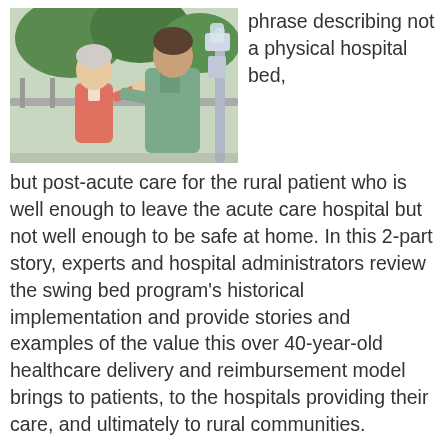[Figure (photo): A nurse or healthcare worker in green scrubs assisting an older woman in a pink cardigan outdoors, with a hospital bed or equipment visible in the background.]
phrase describing not a physical hospital bed, but post-acute care for the rural patient who is well enough to leave the acute care hospital but not well enough to be safe at home. In this 2-part story, experts and hospital administrators review the swing bed program’s historical implementation and provide stories and examples of the value this over 40-year-old healthcare delivery and reimbursement model brings to patients, to the hospitals providing their care, and ultimately to rural communities.
Read More